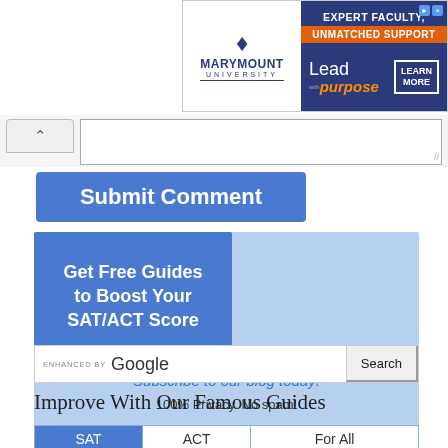[Figure (photo): Marymount University advertisement banner with logo and 'Expert Faculty, Unmatched Support' tagline, 'Lead with purpose' and 'Learn More' call to action]
[Figure (screenshot): Text input form area with collapse arrow button and resizable textarea]
Submit Comment
Get Free Guides to Boost Your SAT/ACT Score
Subscribe to our blog today!
100% Privacy. No spam!
ENHANCED BY Google Search
Improve With Our Famous Guides
| SAT Prep | ACT Prep | For All Students |
| --- | --- | --- |